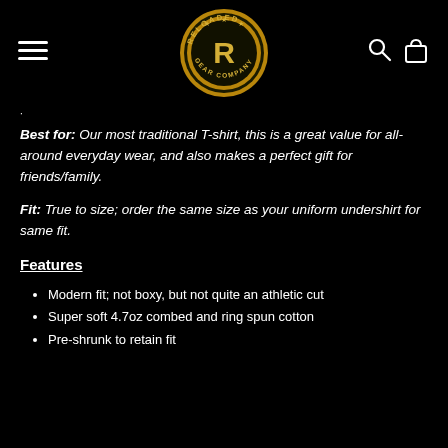[Figure (logo): Reloaded Gear Company circular gold and black logo with stylized R in the center and star accents]
Best for: Our most traditional T-shirt, this is a great value for all-around everyday wear, and also makes a perfect gift for friends/family.
Fit: True to size; order the same size as your uniform undershirt for same fit.
Features
Modern fit; not boxy, but not quite an athletic cut
Super soft 4.7oz combed and ring spun cotton
Pre-shrunk to retain fit